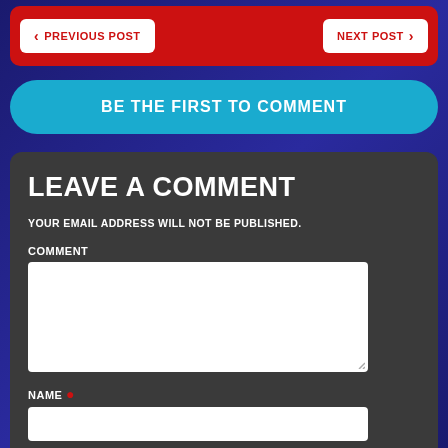PREVIOUS POST   NEXT POST
BE THE FIRST TO COMMENT
LEAVE A COMMENT
YOUR EMAIL ADDRESS WILL NOT BE PUBLISHED.
COMMENT
NAME *
EMAIL *